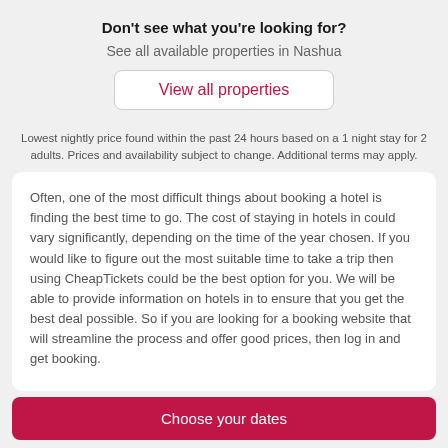Don't see what you're looking for?
See all available properties in Nashua
View all properties
Lowest nightly price found within the past 24 hours based on a 1 night stay for 2 adults. Prices and availability subject to change. Additional terms may apply.
Often, one of the most difficult things about booking a hotel is finding the best time to go. The cost of staying in hotels in could vary significantly, depending on the time of the year chosen. If you would like to figure out the most suitable time to take a trip then using CheapTickets could be the best option for you. We will be able to provide information on hotels in to ensure that you get the best deal possible. So if you are looking for a booking website that will streamline the process and offer good prices, then log in and get booking.
Choose your dates